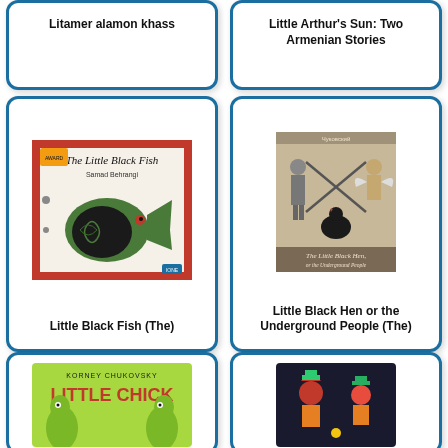[Figure (illustration): Book cover for 'Litamer alamon khass' - partial view, top cropped]
Litamer alamon khass
[Figure (illustration): Book cover for 'Little Arthur's Sun: Two Armenian Stories' - partial view, top cropped]
Little Arthur's Sun: Two Armenian Stories
[Figure (illustration): Book cover of 'The Little Black Fish' by Samad Behrangi, showing a stylized black fish on green background]
Little Black Fish (The)
[Figure (illustration): Book cover of 'The Little Black Hen, or the Underground People' showing medieval-style figures]
Little Black Hen or the Underground People (The)
[Figure (illustration): Book cover of 'Little Chick' by Korney Chukovsky, showing green creature on bright background - partially cropped]
[Figure (illustration): Book cover showing colorful animal characters on dark background - partially cropped]